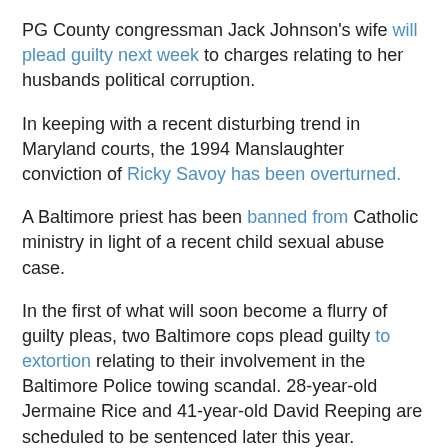PG County congressman Jack Johnson's wife will plead guilty next week to charges relating to her husbands political corruption.
In keeping with a recent disturbing trend in Maryland courts, the 1994 Manslaughter conviction of Ricky Savoy has been overturned.
A Baltimore priest has been banned from Catholic ministry in light of a recent child sexual abuse case.
In the first of what will soon become a flurry of guilty pleas, two Baltimore cops plead guilty to extortion relating to their involvement in the Baltimore Police towing scandal. 28-year-old Jermaine Rice and 41-year-old David Reeping are scheduled to be sentenced later this year.
Watch out Maryland bath salt enthusiasts! Bath salts have now been officially banned in PA, adding to the growing number of states to have officially banned the sale of the drug.